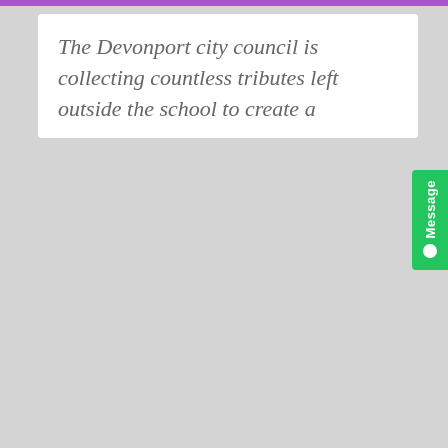The Devonport city council is collecting countless tributes left outside the school to create a
[Figure (screenshot): Green vertical Message tab button with white dot on right side of page]